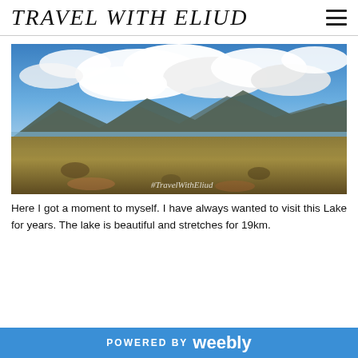TRAVEL WITH ELIUD
[Figure (photo): Landscape photo of an African savanna with mountains in the background, a lake in the middle distance, golden grassland in the foreground, dramatic blue sky with large white clouds. Watermark text '#TravelWithEliud' in white cursive at the bottom center.]
Here I got a moment to myself. I have always wanted to visit this Lake for years. The lake is beautiful and stretches for 19km.
POWERED BY weebly